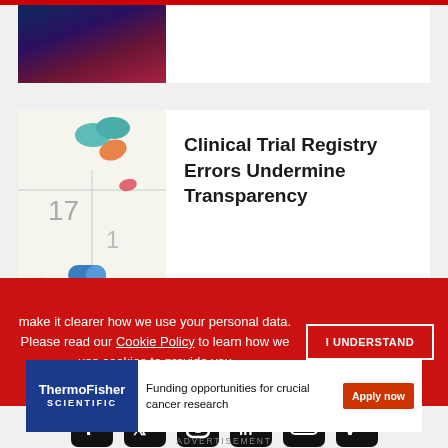[Figure (photo): Partial view of a microscope or biological image, dark blue/purple tones, top card]
[Figure (photo): Colorful pills and capsules on a calendar showing dates 17, 24, 25]
Clinical Trial Registry Errors Undermine Transparency
[Figure (infographic): Social media icons row: Facebook, Twitter, Instagram, LinkedIn, YouTube, Vimeo]
make it clearer how we use your personal data.
Please read our Cookie Policy to learn how we use cookies to provide you
I UNDERSTAND
[Figure (logo): ThermoFisher Scientific logo]
Funding opportunities for crucial cancer research
Apply now
ADVERTISEMENT